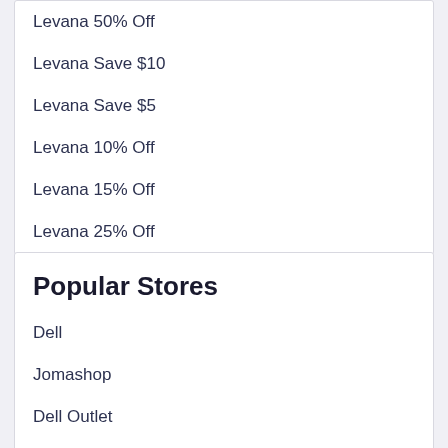Levana 50% Off
Levana Save $10
Levana Save $5
Levana 10% Off
Levana 15% Off
Levana 25% Off
Popular Stores
Dell
Jomashop
Dell Outlet
GeekBuying
Cafago